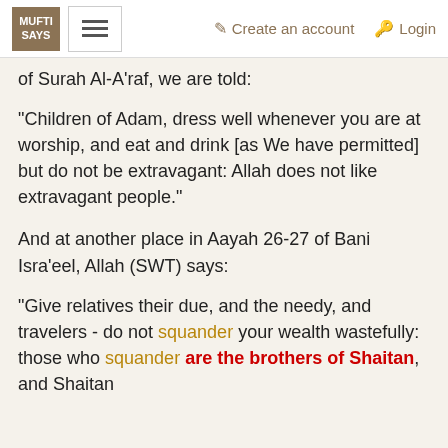MUFTI SAYS | Create an account | Login
of Surah Al-A'raf, we are told:
"Children of Adam, dress well whenever you are at worship, and eat and drink [as We have permitted] but do not be extravagant: Allah does not like extravagant people."
And at another place in Aayah 26-27 of Bani Isra'eel, Allah (SWT) says:
"Give relatives their due, and the needy, and travelers - do not squander your wealth wastefully: those who squander are the brothers of Shaitan, and Shaitan